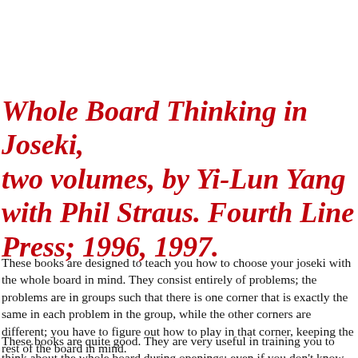Whole Board Thinking in Joseki, two volumes, by Yi-Lun Yang with Phil Straus. Fourth Line Press; 1996, 1997.
These books are designed to teach you how to choose your joseki with the whole board in mind. They consist entirely of problems; the problems are in groups such that there is one corner that is exactly the same in each problem in the group, while the other corners are different; you have to figure out how to play in that corner, keeping the rest of the board in mind.
These books are quite good. They are very useful in training you to think about the whole board during openings; even if you don't know